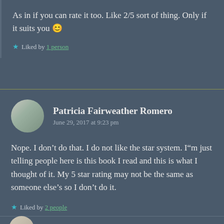As in if you can rate it too. Like 2/5 sort of thing. Only if it suits you 😊
★ Liked by 1 person
Patricia Fairweather Romero
June 29, 2017 at 9:23 pm
Nope. I don't do that. I do not like the star system. I"m just telling people here is this book I read and this is what I thought of it. My 5 star rating may not be the same as someone else's so I don't do it.
★ Liked by 2 people